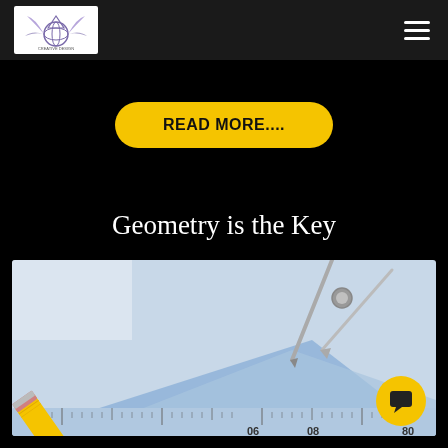Header bar with logo and navigation menu
READ MORE....
Geometry is the Key
[Figure (photo): Close-up photo of geometry tools: a yellow pencil, compass/drawing tool, ruler, and blue drafting paper with measurement markings (06, 08, 80 visible)]
[Figure (other): Yellow circular chat/message bubble icon in bottom-right corner of photo]